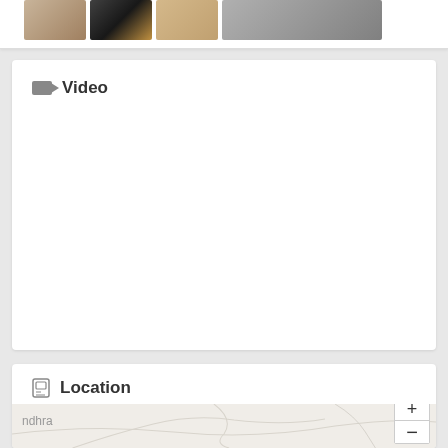[Figure (photo): Top partial card showing a horizontal strip of photo thumbnails — three small photos on the left and one wider photo on the right]
Video
[Figure (other): Empty white card area for video content]
Location
[Figure (map): Partial map showing road lines on a light beige background, with text 'ndhra' visible on the left, and zoom +/- controls on the right side]